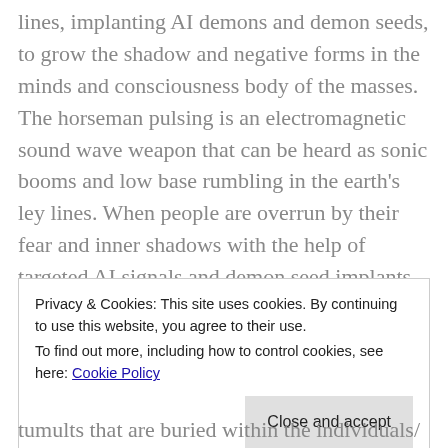lines, implanting AI demons and demon seeds, to grow the shadow and negative forms in the minds and consciousness body of the masses. The horseman pulsing is an electromagnetic sound wave weapon that can be heard as sonic booms and low base rumbling in the earth's ley lines. When people are overrun by their fear and inner shadows with the help of targeted AI signals and demon seed implants, they tend to have little to no control over their inner darkness...
Privacy & Cookies: This site uses cookies. By continuing to use this website, you agree to their use. To find out more, including how to control cookies, see here: Cookie Policy
tumults that are buried within the individuals/